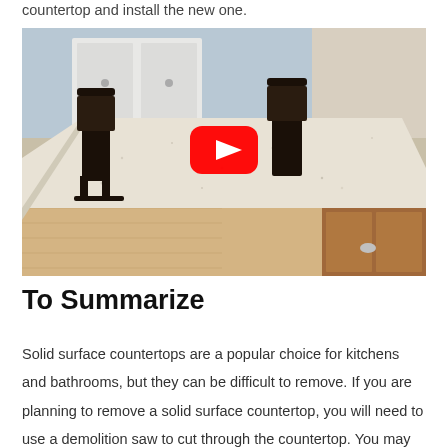countertop and install the new one.
[Figure (photo): Kitchen island with light granite countertop, two dark leather bar stools, wooden cabinets, blue walls, with a YouTube play button overlay in the center indicating a video embed.]
To Summarize
Solid surface countertops are a popular choice for kitchens and bathrooms, but they can be difficult to remove. If you are planning to remove a solid surface countertop, you will need to use a demolition saw to cut through the countertop. You may also need